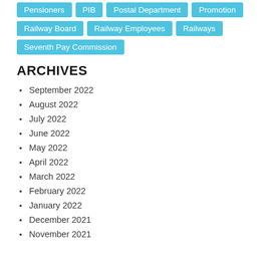Pensioners
PIB
Postal Department
Promotion
Railway Board
Railway Employees
Railways
Seventh Pay Commission
ARCHIVES
September 2022
August 2022
July 2022
June 2022
May 2022
April 2022
March 2022
February 2022
January 2022
December 2021
November 2021